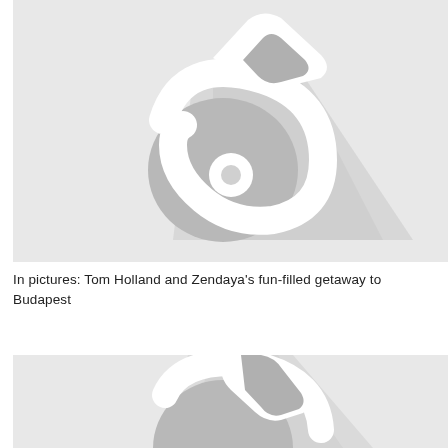[Figure (illustration): Placeholder image with a grey background and a stylized white and grey bird/icon silhouette with shadow effect]
In pictures: Tom Holland and Zendaya’s fun-filled getaway to Budapest
[Figure (illustration): Second placeholder image with a grey background and a partial stylized white and grey bird/icon silhouette with shadow effect]